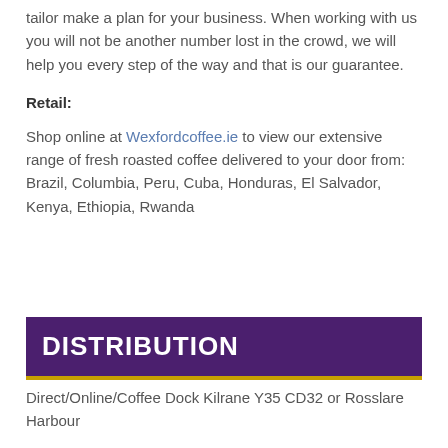tailor make a plan for your business. When working with us you will not be another number lost in the crowd, we will help you every step of the way and that is our guarantee.
Retail:
Shop online at Wexfordcoffee.ie to view our extensive range of fresh roasted coffee delivered to your door from: Brazil, Columbia, Peru, Cuba, Honduras, El Salvador, Kenya, Ethiopia, Rwanda
DISTRIBUTION
Direct/Online/Coffee Dock Kilrane Y35 CD32 or Rosslare Harbour